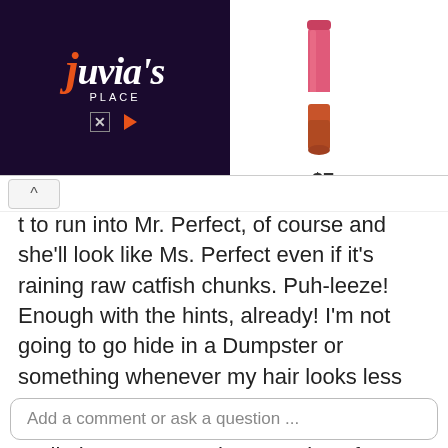[Figure (advertisement): Juvia's Place beauty brand advertisement with product image (lipstick/lip gloss) priced at $7. Dark purple background with orange italic logo text.]
t to run into Mr. Perfect, of course and she'll look like Ms. Perfect even if it's raining raw catfish chunks. Puh-leeze! Enough with the hints, already! I'm not going to go hide in a Dumpster or something whenever my hair looks less than perfect!
Well, that pretty much covers it as far as I'm concerned. What about you? Got any of those super annoying movie clichés to share?
♥  30   ⚑  Report   Edit
Add a comment or ask a question ...